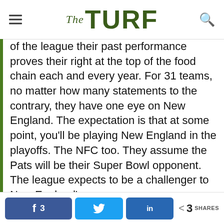The TURF
of the league their past performance proves their right at the top of the food chain each and every year. For 31 teams, no matter how many statements to the contrary, they have one eye on New England. The expectation is that at some point, you'll be playing New England in the playoffs. The NFC too. They assume the Pats will be their Super Bowl opponent. The league expects to be a challenger to New England's supremacy.
Someone should really tell New England.
Why do the Patriots win every single year? Because unlike everyone else, they don't look at past
f 3   [Twitter share]   in   < 3 SHARES